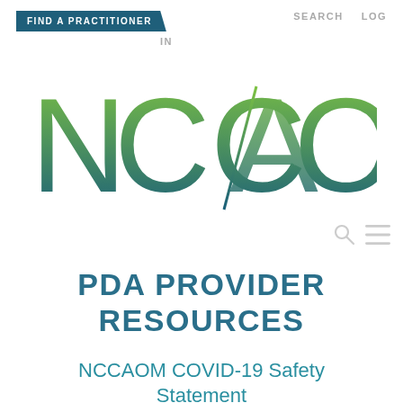FIND A PRACTITIONER   SEARCH   LOG IN
[Figure (logo): NCCAOM logo with gradient green to teal lettering and stylized slash through the A]
PDA PROVIDER RESOURCES
NCCAOM COVID-19 Safety Statement